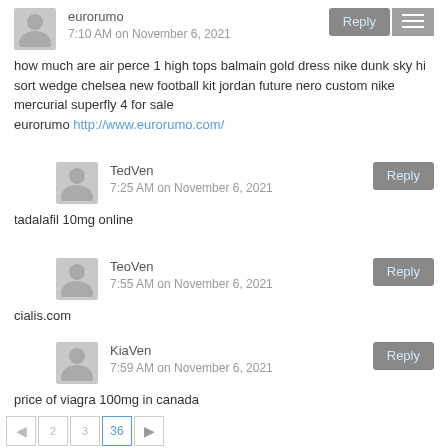eurorumo
7:10 AM on November 6, 2021
how much are air perce 1 high tops balmain gold dress nike dunk sky hi sort wedge chelsea new football kit jordan future nero custom nike mercurial superfly 4 for sale
eurorumo http://www.eurorumo.com/
TedVen
7:25 AM on November 6, 2021
tadalafil 10mg online
TeoVen
7:55 AM on November 6, 2021
cialis.com
KiaVen
7:59 AM on November 6, 2021
price of viagra 100mg in canada